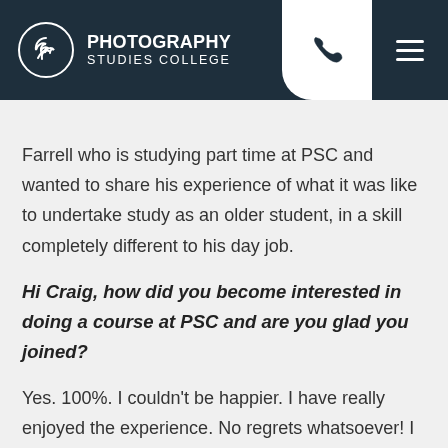PHOTOGRAPHY STUDIES COLLEGE
Farrell who is studying part time at PSC and wanted to share his experience of what it was like to undertake study as an older student, in a skill completely different to his day job.
Hi Craig, how did you become interested in doing a course at PSC and are you glad you joined?
Yes. 100%. I couldn't be happier. I have really enjoyed the experience. No regrets whatsoever! I was at a careers expo and got talking to a PSC staff member. She told me